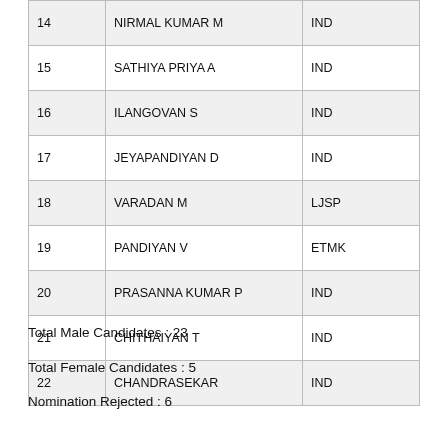| # | Name | Party |
| --- | --- | --- |
| 14 | NIRMAL KUMAR M | IND |
| 15 | SATHIYA PRIYA A | IND |
| 16 | ILANGOVAN S | IND |
| 17 | JEYAPANDIYAN D | IND |
| 18 | VARADAN M | LJSP |
| 19 | PANDIYAN V | ETMK |
| 20 | PRASANNA KUMAR P | IND |
| 21 | CHITHAIYAN T | IND |
| 22 | CHANDRASEKAR | IND |
Total Male Candidates : 23
Total Female Candidates : 5
Nomination Rejected : 6